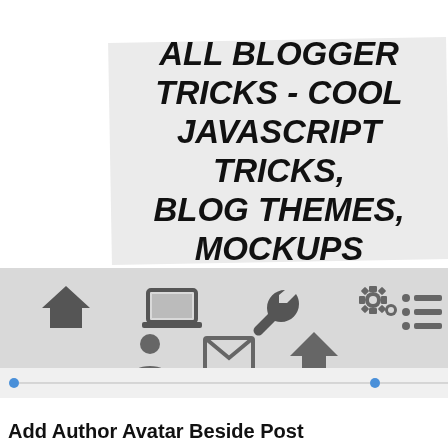ALL BLOGGER TRICKS - COOL JAVASCRIPT TRICKS, BLOG THEMES, MOCKUPS
[Figure (infographic): Navigation bar with icons: home, laptop, wrench, settings/gears, list, person, envelope, arrow-up]
Add Author Avatar Beside Post